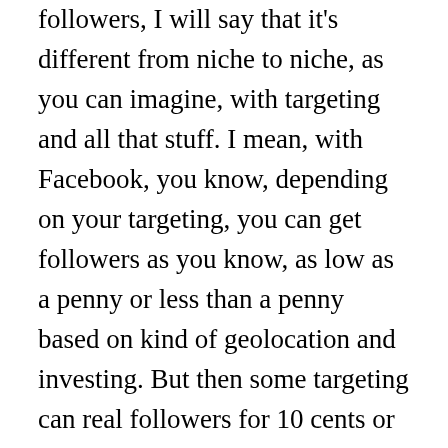followers, I will say that it's different from niche to niche, as you can imagine, with targeting and all that stuff. I mean, with Facebook, you know, depending on your targeting, you can get followers as you know, as low as a penny or less than a penny based on kind of geolocation and investing. But then some targeting can real followers for 10 cents or 20 cents on Instagram, you know, we've generated followers as low as like two and a half cents. And sometimes it comes in at 10 to 11 cents. So it really depends on that. But I will